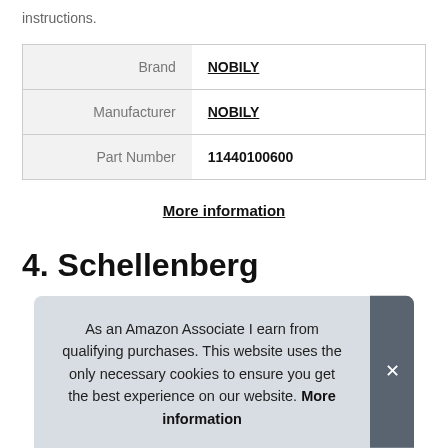instructions.
| Brand | NOBILY |
| Manufacturer | NOBILY |
| Part Number | 11440100600 |
More information
4. Schellenberg
As an Amazon Associate I earn from qualifying purchases. This website uses the only necessary cookies to ensure you get the best experience on our website. More information